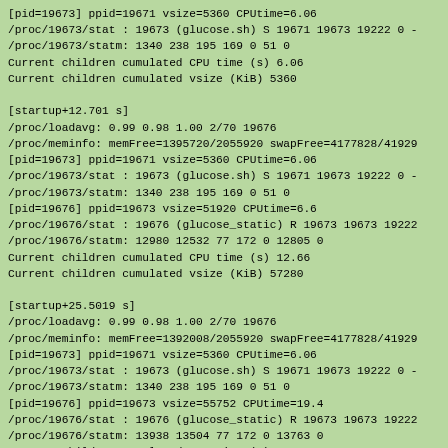[pid=19673] ppid=19671 vsize=5360 CPUtime=6.06
/proc/19673/stat : 19673 (glucose.sh) S 19671 19673 19222 0 -
/proc/19673/statm: 1340 238 195 169 0 51 0
Current children cumulated CPU time (s) 6.06
Current children cumulated vsize (KiB) 5360

[startup+12.701 s]
/proc/loadavg: 0.99 0.98 1.00 2/70 19676
/proc/meminfo: memFree=1395720/2055920 swapFree=4177828/41929
[pid=19673] ppid=19671 vsize=5360 CPUtime=6.06
/proc/19673/stat : 19673 (glucose.sh) S 19671 19673 19222 0 -
/proc/19673/statm: 1340 238 195 169 0 51 0
[pid=19676] ppid=19673 vsize=51920 CPUtime=6.6
/proc/19676/stat : 19676 (glucose_static) R 19673 19673 19222
/proc/19676/statm: 12980 12532 77 172 0 12805 0
Current children cumulated CPU time (s) 12.66
Current children cumulated vsize (KiB) 57280

[startup+25.5019 s]
/proc/loadavg: 0.99 0.98 1.00 2/70 19676
/proc/meminfo: memFree=1392008/2055920 swapFree=4177828/41929
[pid=19673] ppid=19671 vsize=5360 CPUtime=6.06
/proc/19673/stat : 19673 (glucose.sh) S 19671 19673 19222 0 -
/proc/19673/statm: 1340 238 195 169 0 51 0
[pid=19676] ppid=19673 vsize=55752 CPUtime=19.4
/proc/19676/stat : 19676 (glucose_static) R 19673 19673 19222
/proc/19676/statm: 13938 13504 77 172 0 13763 0
Current children cumulated CPU time (s) 25.46
Current children cumulated vsize (KiB) 61112

[startup+51.1016 s]
/proc/loadavg: 0.99 0.98 1.00 2/70 19676